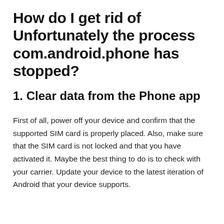How do I get rid of Unfortunately the process com.android.phone has stopped?
1. Clear data from the Phone app
First of all, power off your device and confirm that the supported SIM card is properly placed. Also, make sure that the SIM card is not locked and that you have activated it. Maybe the best thing to do is to check with your carrier. Update your device to the latest iteration of Android that your device supports.